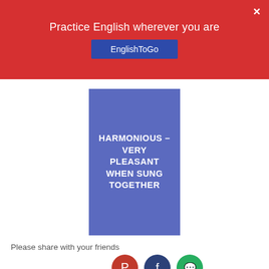Practice English wherever you are
EnglishToGo
[Figure (illustration): Blue rectangle with bold white uppercase text: HARMONIOUS – VERY PLEASANT WHEN SUNG TOGETHER]
Please share with your friends
[Figure (infographic): Three circular social media share buttons: Pinterest (red), Facebook (dark blue), WhatsApp (green)]
← Previous Post
Next Post →
10 thoughts on "How to perfec